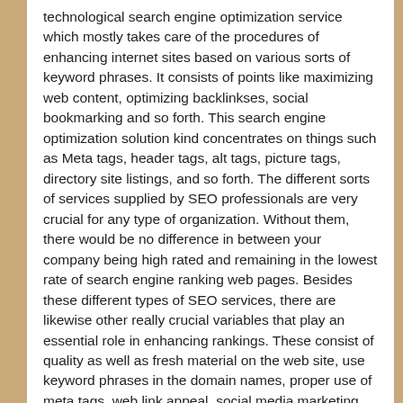technological search engine optimization service which mostly takes care of the procedures of enhancing internet sites based on various sorts of keyword phrases. It consists of points like maximizing web content, optimizing backlinkses, social bookmarking and so forth. This search engine optimization solution kind concentrates on things such as Meta tags, header tags, alt tags, picture tags, directory site listings, and so forth. The different sorts of services supplied by SEO professionals are very crucial for any type of organization. Without them, there would be no difference in between your company being high rated and remaining in the lowest rate of search engine ranking web pages. Besides these different types of SEO services, there are likewise other really crucial variables that play an essential role in enhancing rankings. These consist of quality as well as fresh material on the web site, use keyword phrases in the domain names, proper use of meta tags, web link appeal, social media marketing, and so forth. One more variable that plays an essential duty in enhancing rankings is the quantity of backlinkses. In straightforward terms, internet search engine position is identified by the variety of times that a certain page is displayed in the SERPs or Search Engine Outcome Pages. The more the number of times a